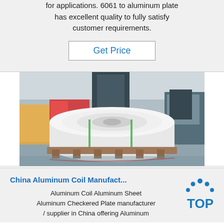for applications. 6061 to aluminum plate has excellent quality to fully satisfy customer requirements.
Get Price
[Figure (photo): Large aluminum coil roll on a wooden pallet in an industrial factory setting, with forklifts and machinery in the background.]
China Aluminum Coil Manufact...
Aluminum Coil Aluminum Sheet Aluminum Checkered Plate manufacturer / supplier in China offering Aluminum